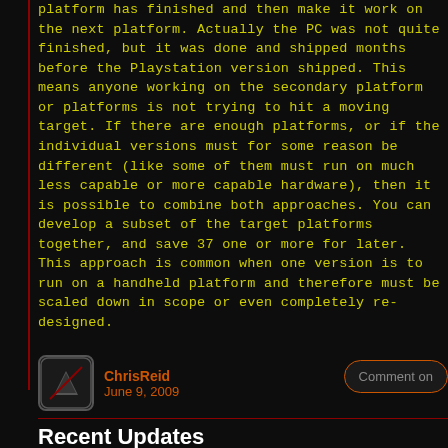platform has finished and then make it work on the next platform. Actually the PC was not quite finished, but it was done and shipped months before the Playstation version shipped. This means anyone working on the secondary platform or platforms is not trying to hit a moving target. If there are enough platforms, or if the individual versions must for some reason be different (like some of them must run on much less capable or more capable hardware), then it is possible to combine both approaches. You can develop a subset of the target platforms together, and save 37 one or more for later. This approach is common when one version is to run on a handheld platform and therefore must be scaled down in scope or even completely re-designed.
ChrisReid
June 9, 2009
Comment on
Recent Updates